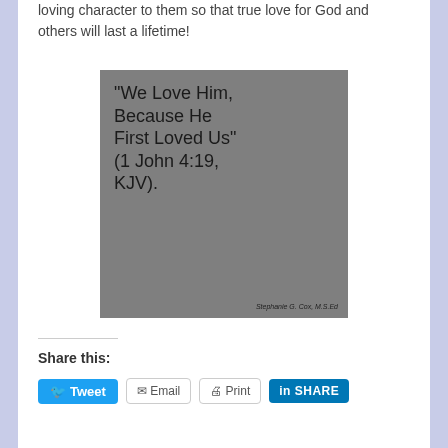loving character to them so that true love for God and others will last a lifetime!
[Figure (illustration): Gray square image with handwritten-style text: "We love Him, because He first loved us" (1 John 4:19, KJV). Attribution: Stephanie G. Cox, M.S.Ed]
Share this:
Tweet  Email  Print  SHARE